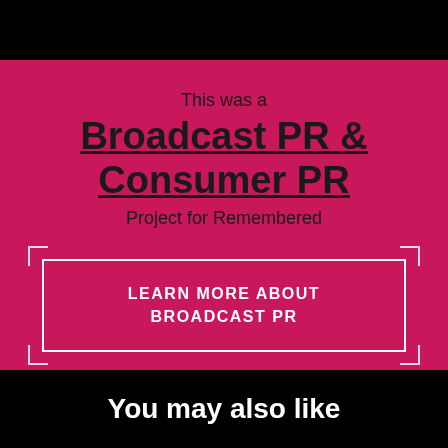This was a
Broadcast PR & Consumer PR
Project for Remembered
LEARN MORE ABOUT BROADCAST PR
You may also like